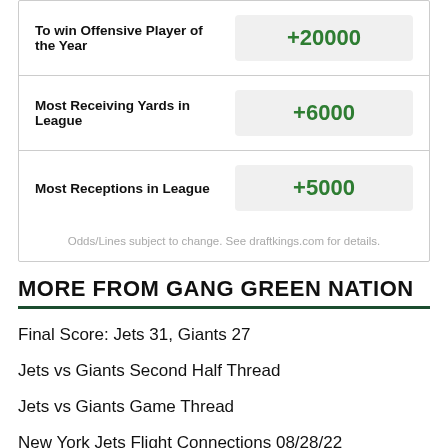| Bet Type | Odds |
| --- | --- |
| To win Offensive Player of the Year | +20000 |
| Most Receiving Yards in League | +6000 |
| Most Receptions in League | +5000 |
Odds/Lines subject to change. See draftkings.com for details.
MORE FROM GANG GREEN NATION
Final Score: Jets 31, Giants 27
Jets vs Giants Second Half Thread
Jets vs Giants Game Thread
New York Jets Flight Connections 08/28/22
How to watch the Jets preseason finale